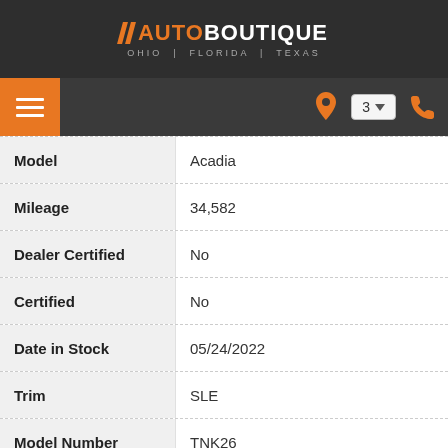AUTO BOUTIQUE — OHIO | FLORIDA | TEXAS
[Figure (screenshot): Navigation bar with hamburger menu, location selector showing 3, and phone icon]
| Field | Value |
| --- | --- |
| Model | Acadia |
| Mileage | 34,582 |
| Dealer Certified | No |
| Certified | No |
| Date in Stock | 05/24/2022 |
| Trim | SLE |
| Model Number | TNK26 |